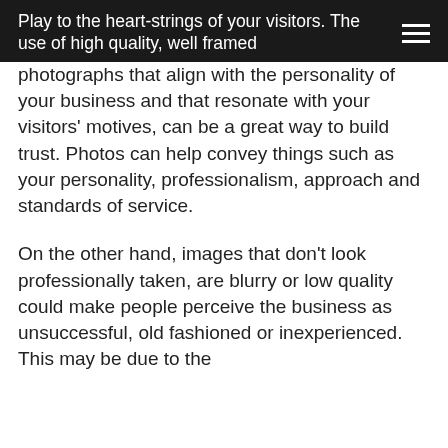Play to the heart-strings of your visitors. The use of high quality, well framed
photographs that align with the personality of your business and that resonate with your visitors' motives, can be a great way to build trust. Photos can help convey things such as your personality, professionalism, approach and standards of service.
On the other hand, images that don't look professionally taken, are blurry or low quality could make people perceive the business as unsuccessful, old fashioned or inexperienced. This may be due to the